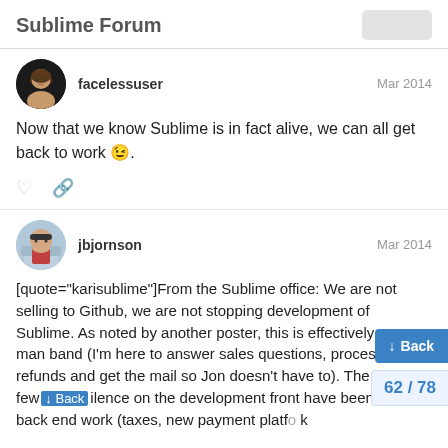Sublime Forum
facelessuser
Mar 2014
Now that we know Sublime is in fact alive, we can all get back to work 😉.
jbjornson
Mar 2014
[quote="karisublime"]From the Sublime office: We are not selling to Github, we are not stopping development of Sublime. As noted by another poster, this is effectively a one man band (I'm here to answer sales questions, process your refunds and get the mail so Jon doesn't have to). The past few [silence] on the development front have been a co[nsidering] back end work (taxes, new payment platfo[rm wor]k for the…and it's a thing, but a conversation A…